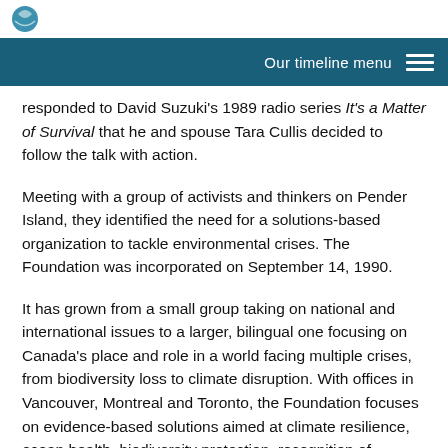Our timeline menu
responded to David Suzuki's 1989 radio series It's a Matter of Survival that he and spouse Tara Cullis decided to follow the talk with action.
Meeting with a group of activists and thinkers on Pender Island, they identified the need for a solutions-based organization to tackle environmental crises. The Foundation was incorporated on September 14, 1990.
It has grown from a small group taking on national and international issues to a larger, bilingual one focusing on Canada's place and role in a world facing multiple crises, from biodiversity loss to climate disruption. With offices in Vancouver, Montreal and Toronto, the Foundation focuses on evidence-based solutions aimed at climate resilience, ocean health, biodiversity protection, recognition of Indigenous rights and title, and public empowerment.